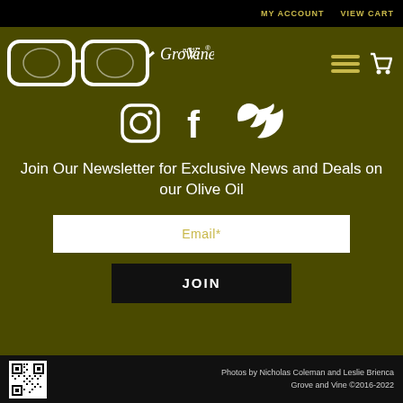MY ACCOUNT   VIEW CART
[Figure (logo): Grove and Vine logo with eyeglasses illustration and script text]
[Figure (illustration): Social media icons: Instagram, Facebook, Twitter]
Join Our Newsletter for Exclusive News and Deals on our Olive Oil
Email*
JOIN
Photos by Nicholas Coleman and Leslie Brienca
Grove and Vine ©2016-2022